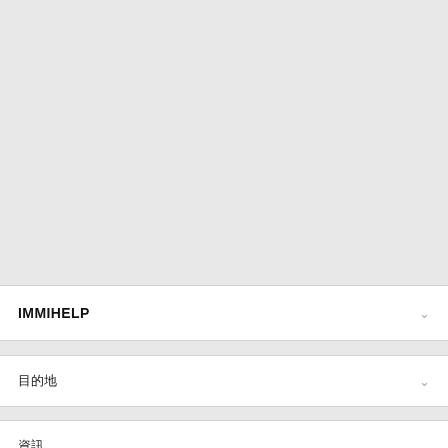IMMIHELP
目的地
資訊
我們使Cookies,为您提供更好的線上體驗,並用於分析網站流量和個性化内容和廣告,悳護更多Cookies資訊請點擊此,繼續瀏覽即表示同意這些服務
同意